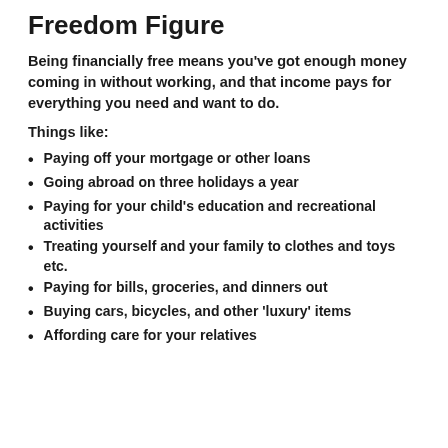Freedom Figure
Being financially free means you’ve got enough money coming in without working, and that income pays for everything you need and want to do.
Things like:
Paying off your mortgage or other loans
Going abroad on three holidays a year
Paying for your child’s education and recreational activities
Treating yourself and your family to clothes and toys etc.
Paying for bills, groceries, and dinners out
Buying cars, bicycles, and other ‘luxury’ items
Affording care for your relatives